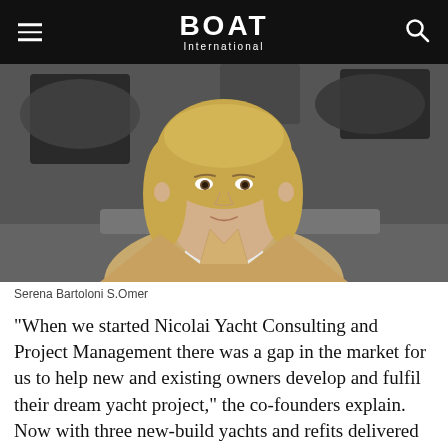BOAT International
[Figure (photo): Portrait photo of Serena Bartoloni S.Omer, a woman with blonde hair wearing a beige blazer and white top, photographed in an interior setting with dark background elements.]
Serena Bartoloni S.Omer
“When we started Nicolai Yacht Consulting and Project Management there was a gap in the market for us to help new and existing owners develop and fulfil their dream yacht project,” the co-founders explain. Now with three new-build yachts and refits delivered between 40 and 70